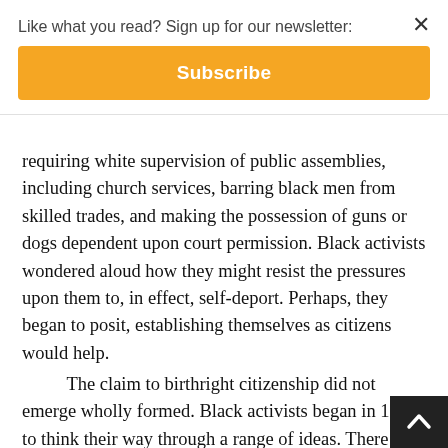Like what you read? Sign up for our newsletter:
Subscribe
requiring white supervision of public assemblies, including church services, barring black men from skilled trades, and making the possession of guns or dogs dependent upon court permission. Black activists wondered aloud how they might resist the pressures upon them to, in effect, self-deport. Perhaps, they began to posit, establishing themselves as citizens would help.

The claim to birthright citizenship did not emerge wholly formed. Black activists began in 1830 to think their way through a range of ideas. There was the US Constitution that, while generally silent on citizenship, did require that the president be a “natural-born Citizen.” Perhaps they, too, were born members of the nation. They proposed that their military service during the American Revolution and the fact of their labor, much of it